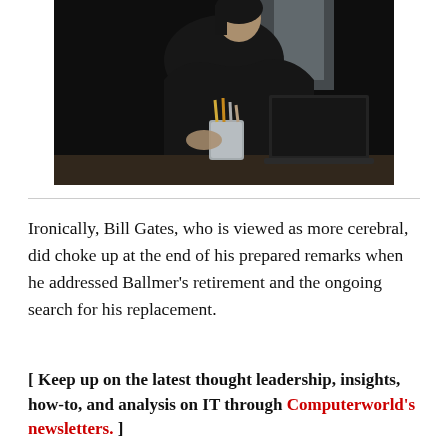[Figure (photo): A person wearing a black top sitting at a desk with a laptop and a cup of pencils/pens, photographed in a dark/moody setting]
Ironically, Bill Gates, who is viewed as more cerebral, did choke up at the end of his prepared remarks when he addressed Ballmer's retirement and the ongoing search for his replacement.
[ Keep up on the latest thought leadership, insights, how-to, and analysis on IT through Computerworld's newsletters. ]